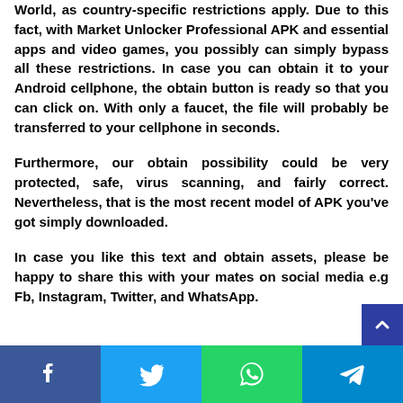World, as country-specific restrictions apply. Due to this fact, with Market Unlocker Professional APK and essential apps and video games, you possibly can simply bypass all these restrictions. In case you can obtain it to your Android cellphone, the obtain button is ready so that you can click on. With only a faucet, the file will probably be transferred to your cellphone in seconds.
Furthermore, our obtain possibility could be very protected, safe, virus scanning, and fairly correct. Nevertheless, that is the most recent model of APK you've got simply downloaded.
In case you like this text and obtain assets, please be happy to share this with your mates on social media e.g Fb, Instagram, Twitter, and WhatsApp.
[Figure (infographic): Social media share buttons: Facebook (blue), Twitter (light blue), WhatsApp (green), Telegram (dark blue)]